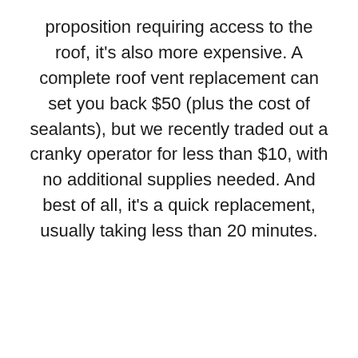proposition requiring access to the roof, it's also more expensive. A complete roof vent replacement can set you back $50 (plus the cost of sealants), but we recently traded out a cranky operator for less than $10, with no additional supplies needed. And best of all, it's a quick replacement, usually taking less than 20 minutes.